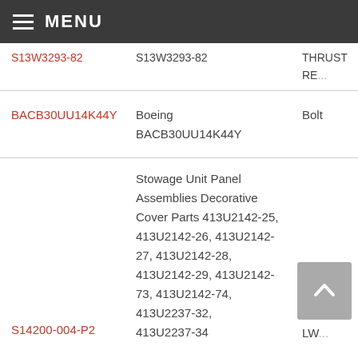MENU
| Part Number | Description | Type |
| --- | --- | --- |
| S13W3293-82 | S13W3293-82 | THRUST RE... |
| BACB30UU14K44Y | Boeing BACB30UU14K44Y | Bolt |
| S14200-004-P2 | Stowage Unit Panel Assemblies Decorative Cover Parts 413U2142-25, 413U2142-26, 413U2142-27, 413U2142-28, 413U2142-29, 413U2142-73, 413U2142-74, 413U2237-32, 413U2237-34 | AerTrim LW... |